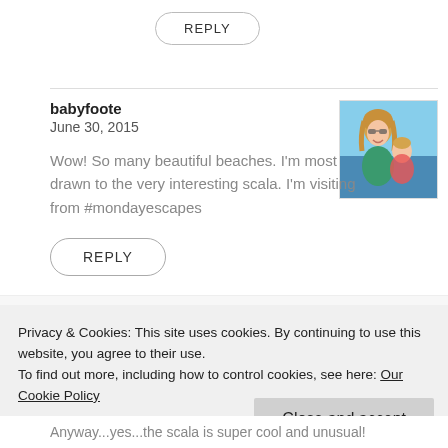REPLY
babyfoote
June 30, 2015
Wow! So many beautiful beaches. I'm most drawn to the very interesting scala. I'm visiting from #mondayescapes
[Figure (photo): Profile photo of a woman and baby at the beach]
REPLY
Privacy & Cookies: This site uses cookies. By continuing to use this website, you agree to their use.
To find out more, including how to control cookies, see here: Our Cookie Policy
Close and accept
Anyway...yes...the scala is super cool and unusual!